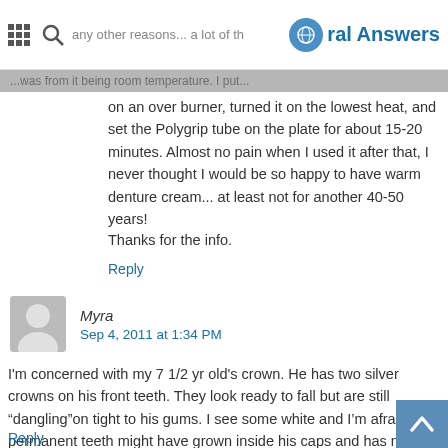Oral Answers
on an over burner, turned it on the lowest heat, and set the Polygrip tube on the plate for about 15-20 minutes. Almost no pain when I used it after that, I never thought I would be so happy to have warm denture cream... at least not for another 40-50 years!
Thanks for the info.
Reply
Myra
Sep 4, 2011 at 1:34 PM
I'm concerned with my 7 1/2 yr old's crown. He has two silver crowns on his front teeth. They look ready to fall but are still "dangling"on tight to his gums. I see some white and I'm afraid his permanent teeth might have grown inside his caps and has now lost them. Can this happen?
Reply